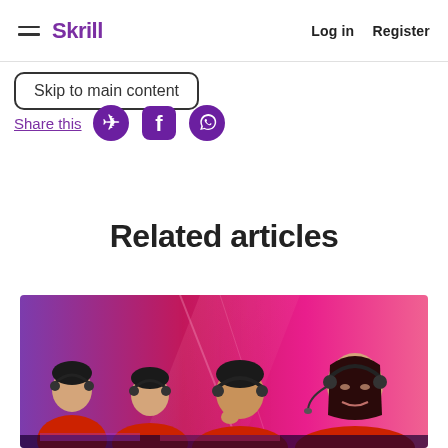Skrill   Log in   Register
Skip to main content
Share this
Related articles
[Figure (photo): Esports team with headsets seated at gaming stations in a pink/purple neon-lit room, wearing red team uniforms]